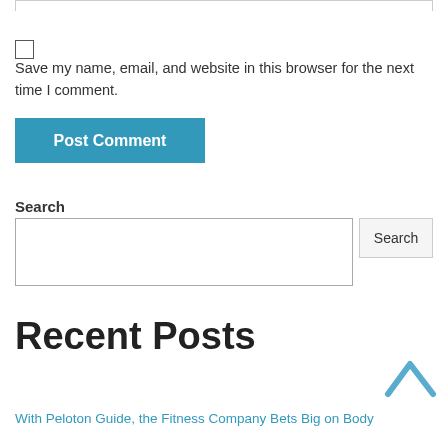Save my name, email, and website in this browser for the next time I comment.
Post Comment
Search
Recent Posts
With Peloton Guide, the Fitness Company Bets Big on Body